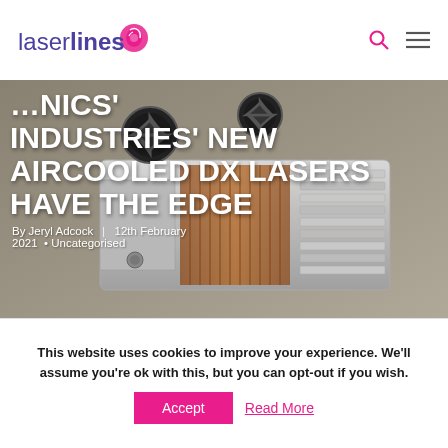laserlines
[Figure (photo): Hero image of an air-cooled laser device (Photonics Industries DX laser), silver metallic enclosure with copper heat fins and dual cooling fans, with overlaid article title text]
PHOTONICS' INDUSTRIES' NEW AIRCOOLED DX LASERS HAVE THE EDGE
By Jeryl Adcock | 12th February 2021 • Uncategorised
This website uses cookies to improve your experience. We'll assume you're ok with this, but you can opt-out if you wish.